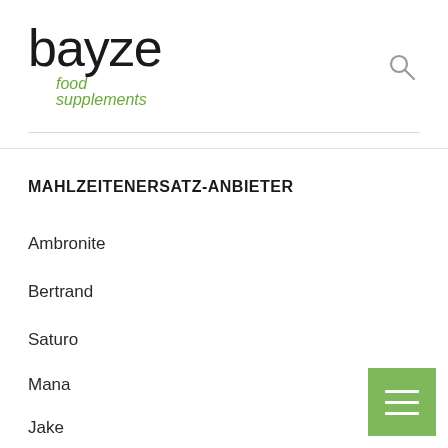bayze food supplements
MAHLZEITENERSATZ-ANBIETER
Ambronite
Bertrand
Saturo
Mana
Jake